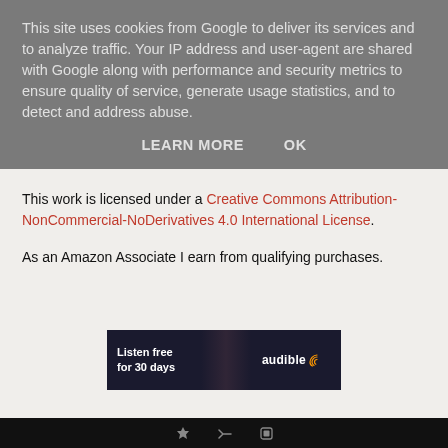This site uses cookies from Google to deliver its services and to analyze traffic. Your IP address and user-agent are shared with Google along with performance and security metrics to ensure quality of service, generate usage statistics, and to detect and address abuse.
LEARN MORE    OK
This work is licensed under a Creative Commons Attribution-NonCommercial-NoDerivatives 4.0 International License.
As an Amazon Associate I earn from qualifying purchases.
[Figure (other): Audible advertisement banner: 'Listen free for 30 days' with Audible logo and a person in background]